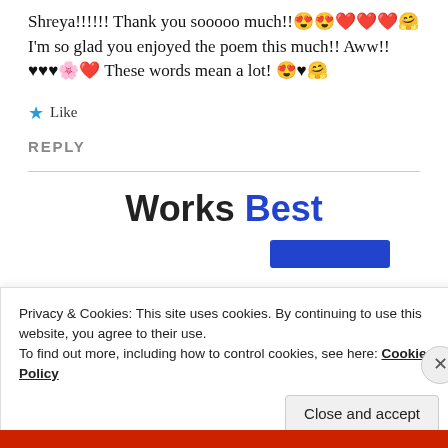Shreya!!!!!! Thank you sooooo much!!😍😍❤️❤️❤️🤗 I'm so glad you enjoyed the poem this much!! Aww!!♥♥♥🌸❤️ These words mean a lot! 😍♥🤗
★ Like
REPLY
Works Best
Privacy & Cookies: This site uses cookies. By continuing to use this website, you agree to their use.
To find out more, including how to control cookies, see here: Cookie Policy
Close and accept